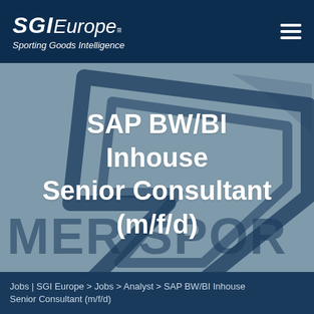[Figure (logo): SGI Europe - Sporting Goods Intelligence logo with italic bold SGI text and Europe text, white on dark navy background, with superscript triple-bar symbol]
[Figure (illustration): Hero banner with steel blue/grey background featuring a large dark navy abstract arrow/speed stripe logo watermark graphic. Large bold white text reads 'SAP BW/BI Inhouse Senior Consultant (m/f/d)'. At the bottom partial text 'MER SPOR' visible as large watermark.]
Jobs | SGI Europe > Jobs > Analyst > SAP BW/BI Inhouse Senior Consultant (m/f/d)